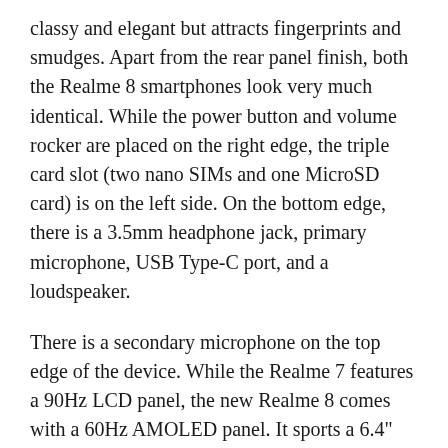classy and elegant but attracts fingerprints and smudges. Apart from the rear panel finish, both the Realme 8 smartphones look very much identical. While the power button and volume rocker are placed on the right edge, the triple card slot (two nano SIMs and one MicroSD card) is on the left side. On the bottom edge, there is a 3.5mm headphone jack, primary microphone, USB Type-C port, and a loudspeaker.
There is a secondary microphone on the top edge of the device. While the Realme 7 features a 90Hz LCD panel, the new Realme 8 comes with a 60Hz AMOLED panel. It sports a 6.4" Super AMOLED display with Full HD+ (2400 x 1080 pixels) resolution and 90.8% screen-to-body ratio. In the same price bracket, Xiaomi is selling the Redmi Note 10 Pro with a 120Hz AMOLED display. Just like the Realme 7, the Realme 8 also comes powered by a MediaTek Helio G95 octa-core processor.